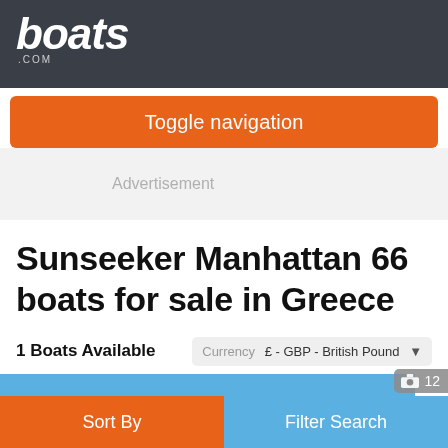boats.com
Toggle navigation
Advertisement
Sunseeker Manhattan 66 boats for sale in Greece
1 Boats Available   Currency  £ - GBP - British Pound
12
Sort By   Filter Search